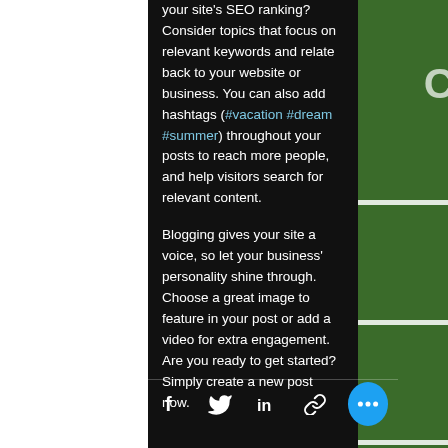your site's SEO ranking? Consider topics that focus on relevant keywords and relate back to your website or business. You can also add hashtags (#vacation #dream #summer) throughout your posts to reach more people, and help visitors search for relevant content.

Blogging gives your site a voice, so let your business' personality shine through. Choose a great image to feature in your post or add a video for extra engagement. Are you ready to get started? Simply create a new post now.
[Figure (screenshot): Social sharing icons bar at bottom: Facebook, Twitter, LinkedIn, link/chain icon, and a blue circular more (…) button]